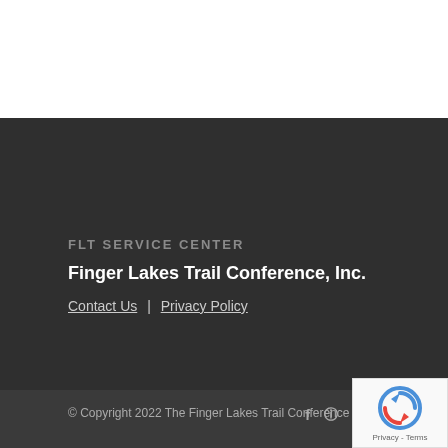FLT SERVICE CENTER
Finger Lakes Trail Conference, Inc.
Contact Us | Privacy Policy
© Copyright 2022 The Finger Lakes Trail Conference